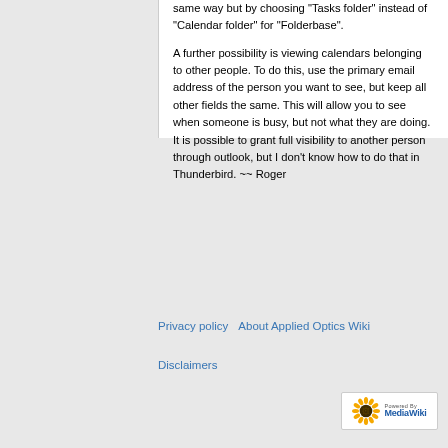same way but by choosing "Tasks folder" instead of "Calendar folder" for "Folderbase".
A further possibility is viewing calendars belonging to other people. To do this, use the primary email address of the person you want to see, but keep all other fields the same. This will allow you to see when someone is busy, but not what they are doing. It is possible to grant full visibility to another person through outlook, but I don't know how to do that in Thunderbird. ~~ Roger
Privacy policy   About Applied Optics Wiki
Disclaimers
[Figure (logo): Powered by MediaWiki logo with sunflower icon]